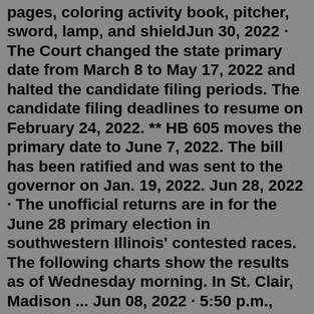pages, coloring activity book, pitcher, sword, lamp, and shieldJun 30, 2022 · The Court changed the state primary date from March 8 to May 17, 2022 and halted the candidate filing periods. The candidate filing deadlines to resume on February 24, 2022. ** HB 605 moves the primary date to June 7, 2022. The bill has been ratified and was sent to the governor on Jan. 19, 2022. Jun 28, 2022 · The unofficial returns are in for the June 28 primary election in southwestern Illinois' contested races. The following charts show the results as of Wednesday morning. In St. Clair, Madison ... Jun 08, 2022 · 5:50 p.m., Wednesday, June 8, 2022. Reporter analysis: Local and statewide updates from California's primary election. While votes in California's primary election are still being counted across ... Jul 18, 2022 · 3 of 18 4 of 18 FILE - Maryland Democrat Wes Moore talks to reporters on June 6, 2022 in Owings Mills, Md., after a Democratic primary debate for governor of Maryland. One of the best ... Monthly events in June 2022 View all monthly events in June. Canada: ALS